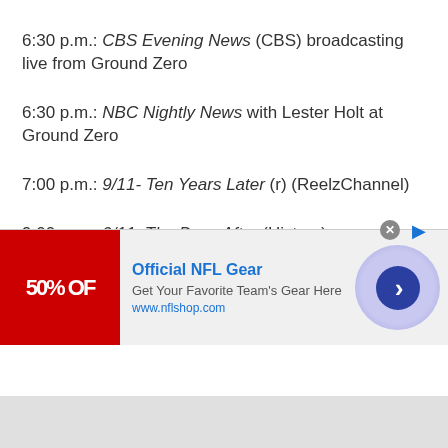6:30 p.m.: CBS Evening News (CBS) broadcasting live from Ground Zero
6:30 p.m.: NBC Nightly News with Lester Holt at Ground Zero
7:00 p.m.: 9/11- Ten Years Later (r) (ReelzChannel)
9:00 p.m.: 9/11: The Days After (History)
9:00 p.m.: The Love We Make (Showtime)
10:00 p.m.: Portraits from Ground Zero (A&E)
[Figure (screenshot): Advertisement banner for Official NFL Gear showing 50% OFF promotion with arrow button and NFL shop URL]